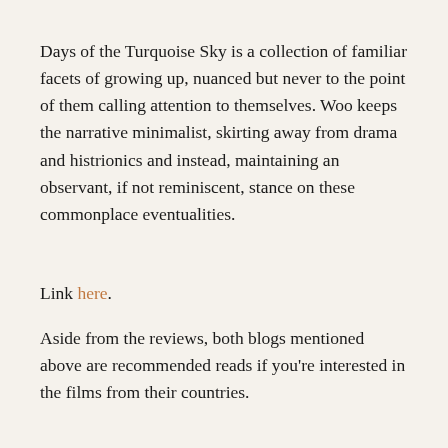Days of the Turquoise Sky is a collection of familiar facets of growing up, nuanced but never to the point of them calling attention to themselves. Woo keeps the narrative minimalist, skirting away from drama and histrionics and instead, maintaining an observant, if not reminiscent, stance on these commonplace eventualities.
Link here.
Aside from the reviews, both blogs mentioned above are recommended reads if you're interested in the films from their countries.